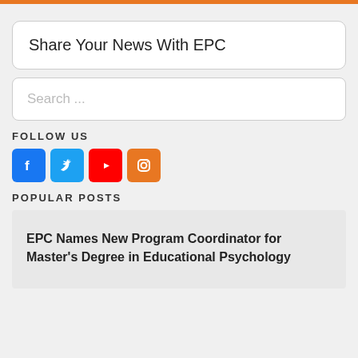Share Your News With EPC
Search ...
FOLLOW US
[Figure (infographic): Social media icons: Facebook (blue), Twitter (blue), YouTube (red), Instagram (orange)]
POPULAR POSTS
EPC Names New Program Coordinator for Master's Degree in Educational Psychology